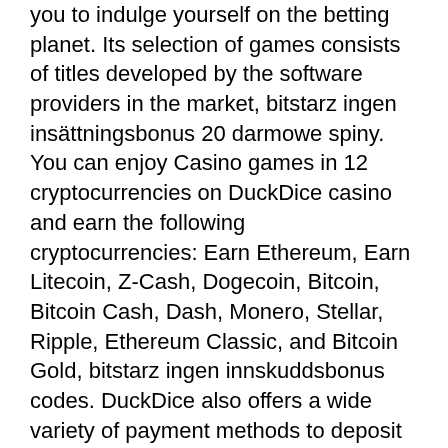you to indulge yourself on the betting planet. Its selection of games consists of titles developed by the software providers in the market, bitstarz ingen insättningsbonus 20 darmowe spiny. You can enjoy Casino games in 12 cryptocurrencies on DuckDice casino and earn the following cryptocurrencies: Earn Ethereum, Earn Litecoin, Z-Cash, Dogecoin, Bitcoin, Bitcoin Cash, Dash, Monero, Stellar, Ripple, Ethereum Classic, and Bitcoin Gold, bitstarz ingen innskuddsbonus codes. DuckDice also offers a wide variety of payment methods to deposit and withdrawals including credit cards. By the way, no-deposit bonuses, promo codes, and other special deals can be found in that letter, bitstarz ingen insättningsbonus code 2022. Identify and Redeem the Promo Code. Staying safe online is obviously one of the main things to consider when it comes to anything related to personal or bank details, and that includes